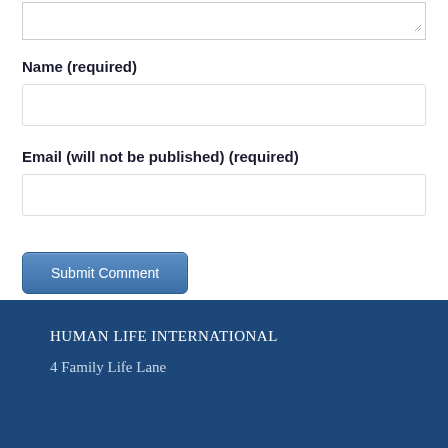[Figure (other): Text area input box (partially visible at top of page) with resize handle in bottom-right corner]
Name (required)
[Figure (other): Single-line text input field for Name]
Email (will not be published) (required)
[Figure (other): Single-line text input field for Email]
[Figure (other): Submit Comment button, blue rounded rectangle]
HUMAN LIFE INTERNATIONAL
4 Family Life Lane